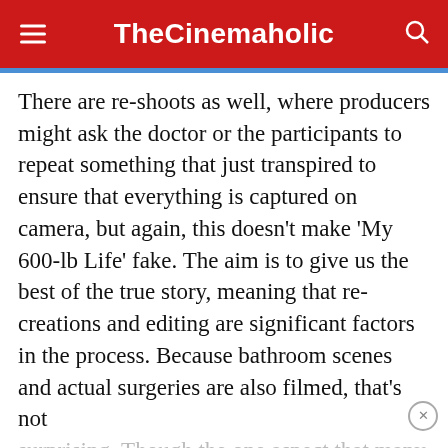TheCinemaholic
There are re-shoots as well, where producers might ask the doctor or the participants to repeat something that just transpired to ensure that everything is captured on camera, but again, this doesn’t make ‘My 600-lb Life’ fake. The aim is to give us the best of the true story, meaning that re-creations and editing are significant factors in the process. Because bathroom scenes and actual surgeries are also filmed, that’s not
surprising. Though the one aspect that many people… the cast members’ personalities, and we can
[Figure (photo): MAC cosmetics advertisement showing lipsticks in purple, pink, and red colors with MAC logo and SHOP NOW button]